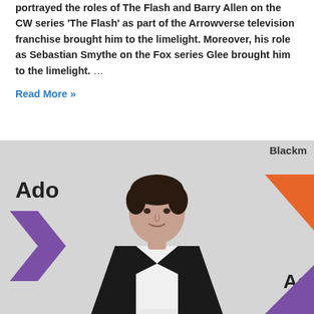portrayed the roles of The Flash and Barry Allen on the CW series 'The Flash' as part of the Arrowverse television franchise brought him to the limelight. Moreover, his role as Sebastian Smythe on the Fox series Glee brought him to the limelight. …
Read More »
[Figure (photo): A young man with dark hair wearing a black suit jacket over a white turtleneck shirt, standing in front of a step-and-repeat banner with 'Adobe' and 'Blackmagic' logos and purple/orange chevron shapes.]